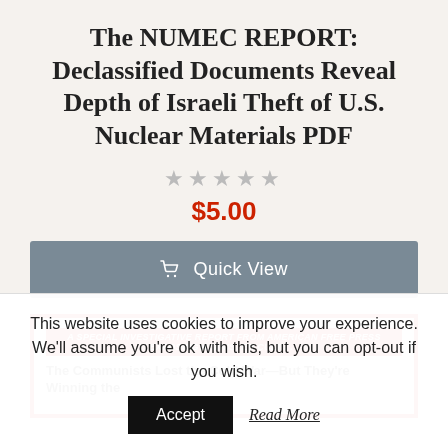The NUMEC REPORT: Declassified Documents Reveal Depth of Israeli Theft of U.S. Nuclear Materials PDF
★★★★★
$5.00
🛒 Quick View
[Figure (screenshot): Book cover preview inside a red border showing a red banner text 'A SPECIAL INVESTIGATIVE REPORT FROM AMERICAN FREE PRESS EXPOSING A SINISTER CULT...' and subtitle 'The Communists Lost the Cold War—But They're Winning the']
This website uses cookies to improve your experience. We'll assume you're ok with this, but you can opt-out if you wish.
Accept   Read More